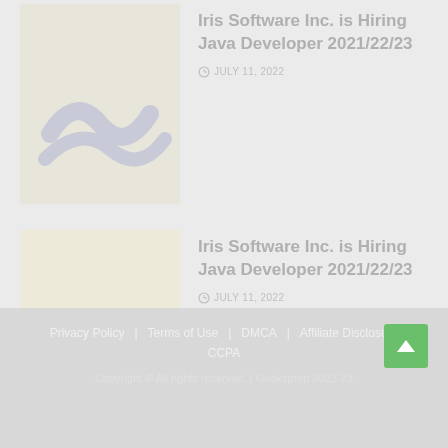[Figure (illustration): Card thumbnail image 1 with abstract squiggle/wave pattern on light beige background]
Iris Software Inc. is Hiring Java Developer 2021/22/23
JULY 11, 2022
[Figure (illustration): Card thumbnail image 2 with abstract squiggle/wave pattern on light cream background]
Iris Software Inc. is Hiring Java Developer 2021/22/23
JULY 11, 2022
Privacy Policy   Terms of Use   DMCA   Affiliate Disclosure   CCPA
Copyright © All rights reserved. | Geeksprep 2022-23